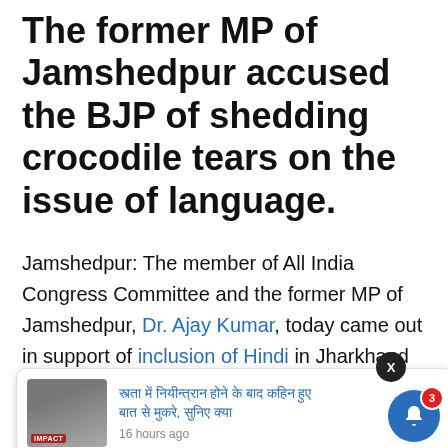The former MP of Jamshedpur accused the BJP of shedding crocodile tears on the issue of language.
Jamshedpur: The member of All India Congress Committee and the former MP of Jamshedpur, Dr. Ajay Kumar, today came out in support of inclusion of Hindi in Jharkhand examinations and took a jibe at the BJP leaders on the ongoing language dispute in the state.
[Figure (screenshot): A notification popup overlay showing a news thumbnail image with red label, Hindi text headline in blue, and '16 hours ago' timestamp.]
...odile tears and the party has nothing to do with